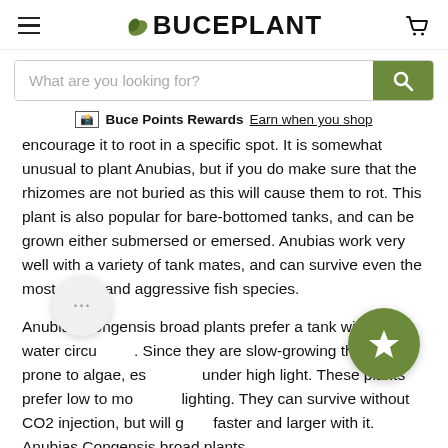BUCEPLANT
What are you looking for?
🏷 Buce Points Rewards  Earn when you shop
encourage it to root in a specific spot. It is somewhat unusual to plant Anubias, but if you do make sure that the rhizomes are not buried as this will cause them to rot. This plant is also popular for bare-bottomed tanks, and can be grown either submersed or emersed. Anubias work very well with a variety of tank mates, and can survive even the most active and aggressive fish species.
Anubias Congensis broad plants prefer a tank with good water circulation. Since they are slow-growing they are prone to algae, especially under high light. These plants prefer low to moderate lighting. They can survive without CO2 injection, but will grow faster and larger with it. Anubias Congensis broad plants